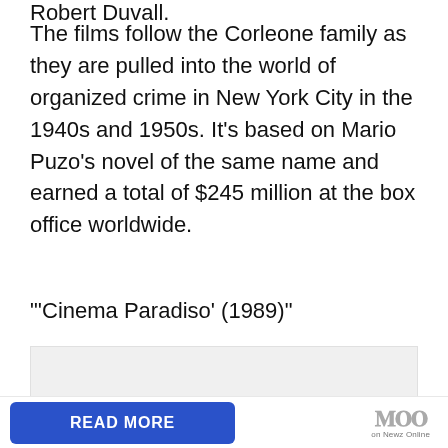Robert Duvall.
The films follow the Corleone family as they are pulled into the world of organized crime in New York City in the 1940s and 1950s. It's based on Mario Puzo's novel of the same name and earned a total of $245 million at the box office worldwide.
'Cinema Paradiso' (1989)"
[Figure (other): Advertisement or content placeholder box with scroll-to-top button]
READ MORE
on Newz Online